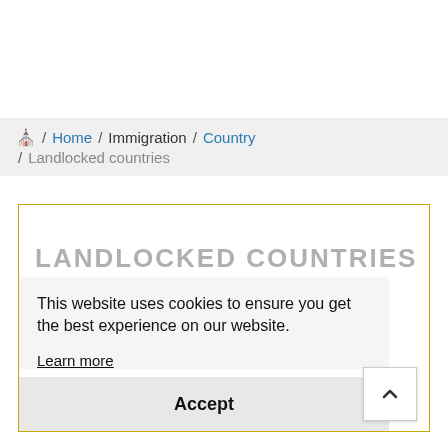Home / Immigration / Country / Landlocked countries
LANDLOCKED COUNTRIES
This website uses cookies to ensure you get the best experience on our website.
Learn more
Accept